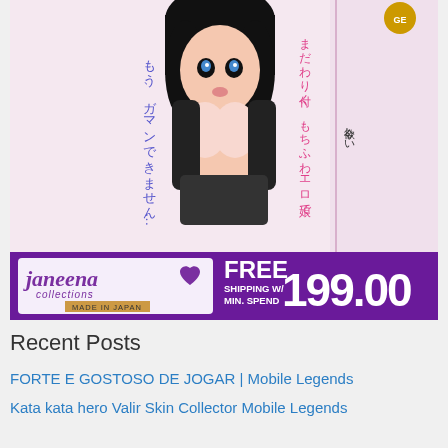[Figure (illustration): Product image of an anime-style adult toy box with Japanese text and manga-style artwork, featuring a female anime character. Brand label 'janeena collections' with purple banner showing 'FREE SHIPPING W/ MIN. SPEND' and price '199.00']
Recent Posts
FORTE E GOSTOSO DE JOGAR | Mobile Legends
Kata kata hero Valir Skin Collector Mobile Legends